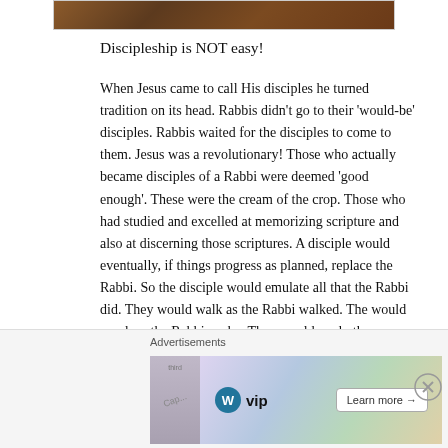[Figure (photo): Partial top edge of a brown/earth-toned image, likely a religious or nature photo]
Discipleship is NOT easy!
When Jesus came to call His disciples he turned tradition on its head. Rabbis didn’t go to their ‘would-be’ disciples. Rabbis waited for the disciples to come to them. Jesus was a revolutionary! Those who actually became disciples of a Rabbi were deemed ‘good enough’. These were the cream of the crop. Those who had studied and excelled at memorizing scripture and also at discerning those scriptures. A disciple would eventually, if things progress as planned, replace the Rabbi. So the disciple would emulate all that the Rabbi did. They would walk as the Rabbi walked. The would speak as the Rabbi spoke. They would apply the same lens and perspective to the Torah
Advertisements
[Figure (screenshot): WordPress VIP advertisement banner with WP logo and Learn more button]